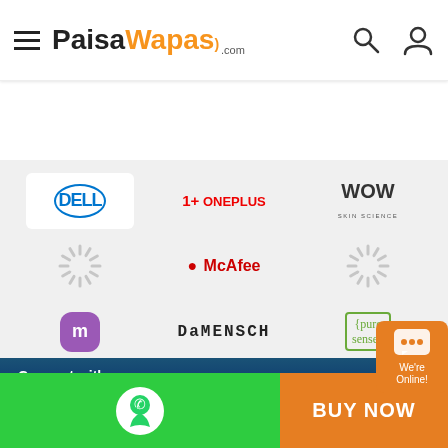[Figure (logo): PaisaWapas.com website header with hamburger menu, logo, search and user icons]
[Figure (infographic): Brand logo grid showing Dell, OnePlus, WOW Skin Science, loading spinners, McAfee, Meesho, DaMENSCH, Pure Sense, Coco Soul, loading spinner, Zivame]
Connect with us
[Figure (illustration): Social media icons: Facebook, Instagram, LinkedIn, Twitter]
[Figure (illustration): Bottom bar with WhatsApp icon (green), BUY NOW button (orange), and We're Online chat bubble]